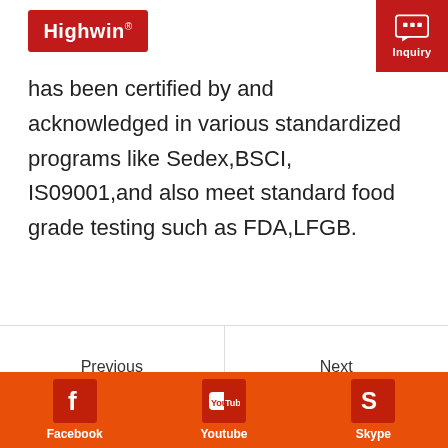Highwin
has been certified by and acknowledged in various standardized programs like Sedex,BSCI, IS09001,and also meet standard food grade testing such as FDA,LFGB.
Previous
Ice clamps
Next
Ice bucket
Username used for comment:
Facebook   Youtube   Skype